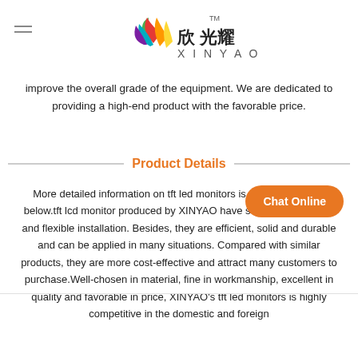XIN YAO logo
improve the overall grade of the equipment. We are dedicated to providing a high-end product with the favorable price.
Product Details
More detailed information on tft led monitors is shown for you at below.tft lcd monitor produced by XINYAO have stable performance and flexible installation. Besides, they are efficient, solid and durable and can be applied in many situations. Compared with similar products, they are more cost-effective and attract many customers to purchase.Well-chosen in material, fine in workmanship, excellent in quality and favorable in price, XINYAO's tft led monitors is highly competitive in the domestic and foreign